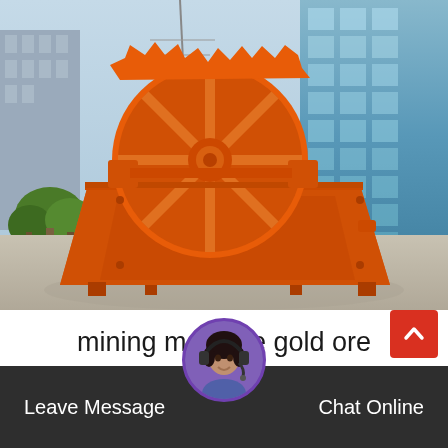[Figure (photo): Large orange mining machine (sand washer / wheel sand washing machine) with a wheel/impeller mechanism on top and a trapezoidal basin/trough below, photographed outdoors in an industrial facility yard with trees and a tall glass-facade building in the background.]
mining machine gold ore production line for sale
Leave Message
Chat Online